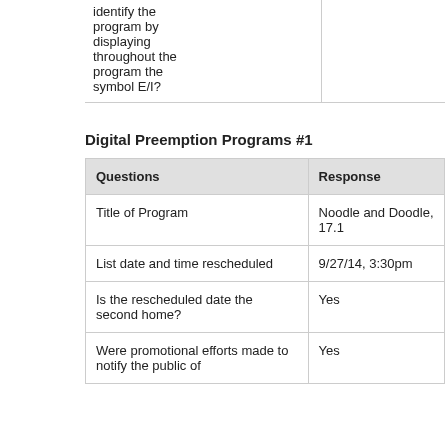|  |  |
| --- | --- |
| identify the program by displaying throughout the program the symbol E/I? |  |
Digital Preemption Programs #1
| Questions | Response |
| --- | --- |
| Title of Program | Noodle and Doodle, 17.1 |
| List date and time rescheduled | 9/27/14, 3:30pm |
| Is the rescheduled date the second home? | Yes |
| Were promotional efforts made to notify the public of... | Yes |